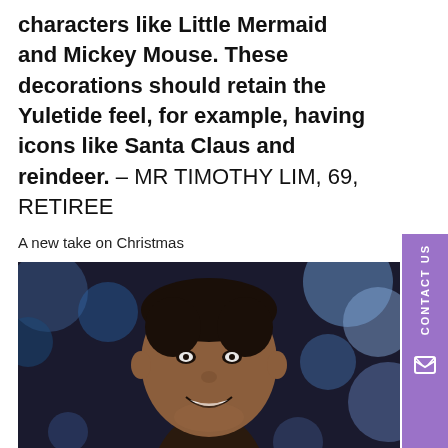characters like Little Mermaid and Mickey Mouse. These decorations should retain the Yuletide feel, for example, having icons like Santa Claus and reindeer. – MR TIMOTHY LIM, 69, RETIREE
A new take on Christmas
[Figure (photo): A smiling man photographed at night with blurred bokeh lights in the background]